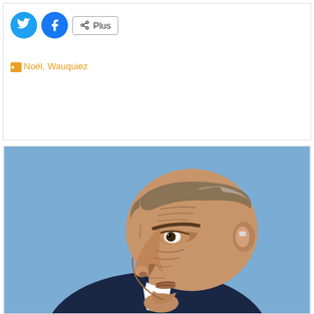[Figure (illustration): Social share buttons: Twitter (blue bird icon), Facebook (blue f icon), and a 'Plus' share button with share icon]
Noël, Wauquiez
[Figure (illustration): Caricature illustration of a middle-aged man in profile view (facing left), with exaggerated features: prominent nose, deep-set eyes, wrinkled face, grey-brown hair swept back, wearing a dark navy suit with white shirt. Background is light blue/steel blue.]